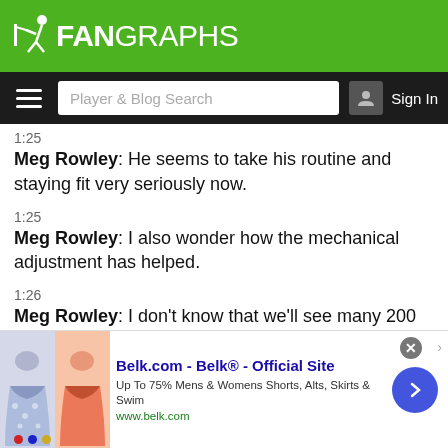FanGraphs header with logo and navigation bar
1:25
Meg Rowley: He seems to take his routine and staying fit very seriously now.
1:25
Meg Rowley: I also wonder how the mechanical adjustment has helped.
1:26
Meg Rowley: I don't know that we'll see many 200 inning guys this year, but the Mariners have to be doing some weird ritual every day.
1:26
Meg Rowley: As Paxton goes, so goes their season
[Figure (screenshot): Belk.com advertisement banner at bottom of page showing clothing images and text 'Belk.com - Belk® - Official Site, Up To 75% Mens & Womens Shorts, Alts, Skirts & Swim, www.belk.com']